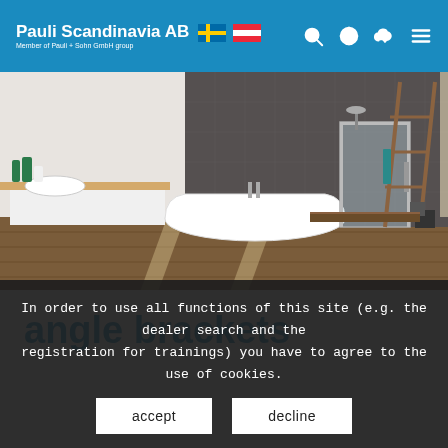Pauli Scandinavia AB — Member of Pauli + Sohn GmbH group
[Figure (photo): Modern bathroom interior with freestanding white bathtub, glass shower enclosure, wooden floor, and vanity with sink]
angle brackets
In order to use all functions of this site (e.g. the dealer search and the registration for trainings) you have to agree to the use of cookies.
accept | decline